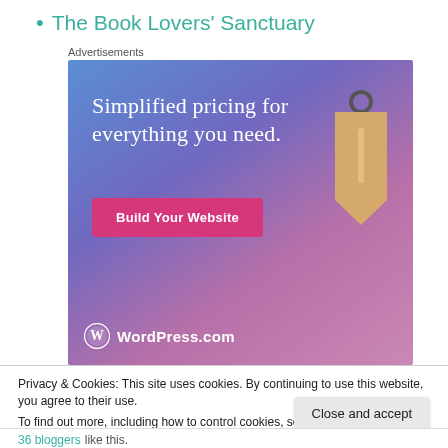The Book Lovers' Sanctuary
Advertisements
[Figure (photo): WordPress.com advertisement banner: gradient blue-to-pink background with white serif text 'Simplified pricing for everything you need.', a pink 'Build Your Website' button, a tan price tag illustration, and the WordPress.com logo at the bottom left.]
REPORT THIS AD
Privacy & Cookies: This site uses cookies. By continuing to use this website, you agree to their use.
To find out more, including how to control cookies, see here: Cookie Policy
Close and accept
36 bloggers like this.